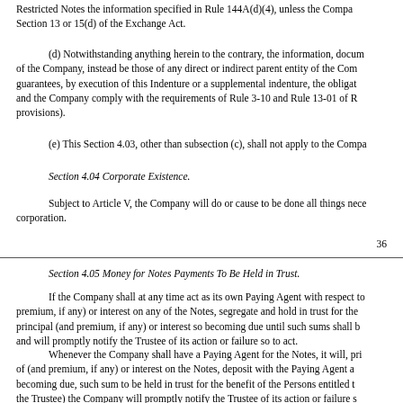Restricted Notes the information specified in Rule 144A(d)(4), unless the Company is subject to Section 13 or 15(d) of the Exchange Act.
(d) Notwithstanding anything herein to the contrary, the information, documents or reports required hereunder may, at the option of the Company, instead be those of any direct or indirect parent entity of the Company, provided that such parent entity, if it is not the issuer of guarantees, by execution of this Indenture or a supplemental indenture, the obligations hereunder and that such parent entity and the Company comply with the requirements of Rule 3-10 and Rule 13-01 of R... provisions).
(e) This Section 4.03, other than subsection (c), shall not apply to the Company...
Section 4.04 Corporate Existence.
Subject to Article V, the Company will do or cause to be done all things necessary to preserve and keep in full force and effect its existence as a corporation.
36
Section 4.05 Money for Notes Payments To Be Held in Trust.
If the Company shall at any time act as its own Paying Agent with respect to the Notes, it will, on or before each due date of the principal (and premium, if any) or interest on any of the Notes, segregate and hold in trust for the benefit of the Persons entitled thereto a sum sufficient to pay the principal (and premium, if any) or interest so becoming due until such sums shall be paid to such Persons or otherwise disposed of as herein provided and will promptly notify the Trustee of its action or failure so to act.
Whenever the Company shall have a Paying Agent for the Notes, it will, prior to each due date of the principal of (and premium, if any) or interest on the Notes, deposit with the Paying Agent a sum sufficient to pay the principal (and premium, if any) or interest so becoming due, such sum to be held in trust for the benefit of the Persons entitled to such principal, premium or interest, and (unless such Paying Agent is the Trustee) the Company will promptly notify the Trustee of its action or failure so to act.